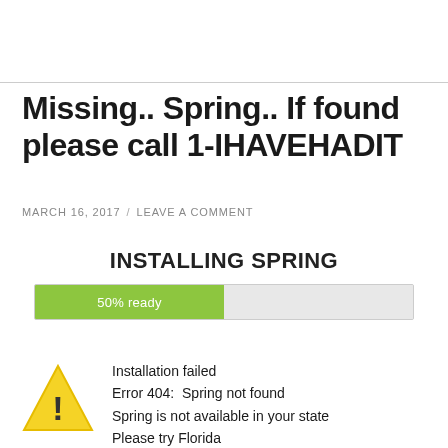Missing.. Spring.. If found please call 1-IHAVEHADIT
MARCH 16, 2017 / LEAVE A COMMENT
[Figure (infographic): Progress bar showing INSTALLING SPRING with 50% ready filled in green, and an error message below with a yellow warning triangle: Installation failed, Error 404: Spring not found, Spring is not available in your state, Please try Florida]